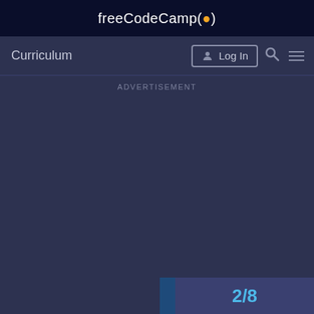freeCodeCamp(🔥)
Curriculum
Log In
ADVERTISEMENT
2 / 8